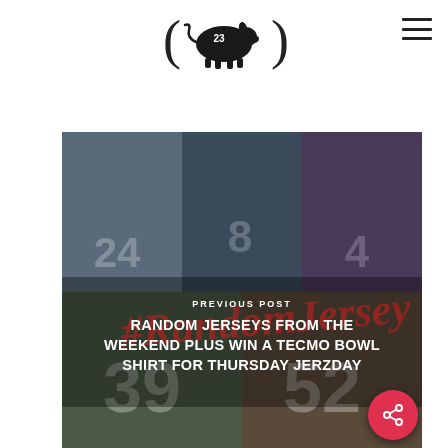[Figure (logo): Pig Skin 23 logo — a silhouette of a pig with the number 23, surrounded by parentheses, in black on white background]
[Figure (photo): Collage of sports jersey photos showing various numbered jerseys (24, 8, 4, 39, 52) at sporting events. Overlaid text reads 'PREVIOUS POST' and the post title 'RANDOM JERSEYS FROM THE WEEKEND PLUS WIN A TECMO BOWL SHIRT FOR THURSDAY JERZDAY'. A red hashtag cursive watermark is visible.]